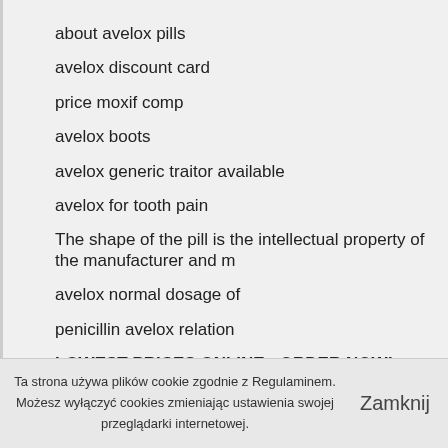about avelox pills
avelox discount card
price moxif comp
avelox boots
avelox generic traitor available
avelox for tooth pain
The shape of the pill is the intellectual property of the manufacturer and m
avelox normal dosage of
penicillin avelox relation
LOWEST PRICES ONLINE - ORDER NOW!
Ta strona używa plików cookie zgodnie z Regulaminem. Możesz wyłączyć cookies zmieniając ustawienia swojej przeglądarki internetowej. Zamknij